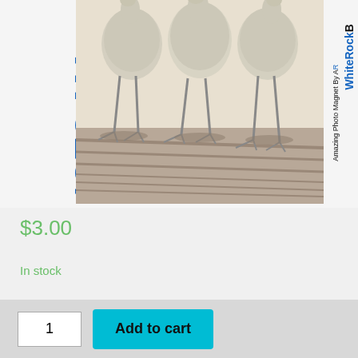[Figure (photo): Product listing image showing a photo magnet featuring three cranes/birds standing, with vertical text on left reading 'PHOTO MA' in blue, dimensions '3.43" x 1.93" - 87 mm x 49 m' in red, 'CAN BE MAILED IN A' in black, and on right 'MAGNET-0' in red, 'WhiteRockB' in black/blue, 'Amazing Photo Magnet By AR' in black]
$3.00
In stock
1
Add to cart